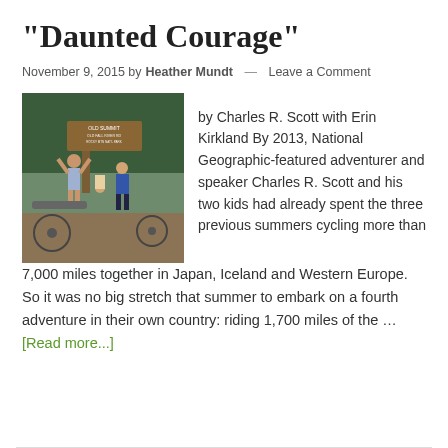“Daunted Courage”
November 9, 2015 by Heather Mundt — Leave a Comment
[Figure (photo): A man and two children posing in front of a trail summit sign, with bicycles visible, in a forested mountain setting.]
by Charles R. Scott with Erin Kirkland By 2013, National Geographic-featured adventurer and speaker Charles R. Scott and his two kids had already spent the three previous summers cycling more than 7,000 miles together in Japan, Iceland and Western Europe. So it was no big stretch that summer to embark on a fourth adventure in their own country: riding 1,700 miles of the … [Read more...]